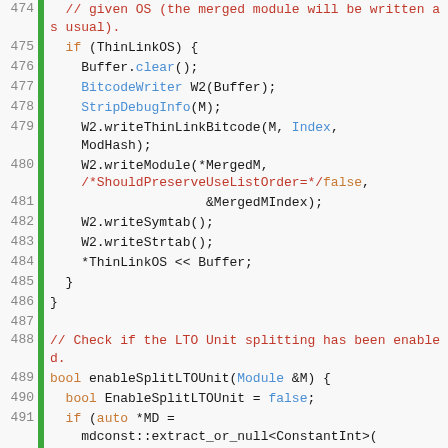[Figure (screenshot): Source code snippet in C++ with syntax highlighting, showing lines 474-500 of an LLVM-related file. Green vertical bar on left, line numbers in grey, keywords in orange, function names in blue, comments in red/orange.]